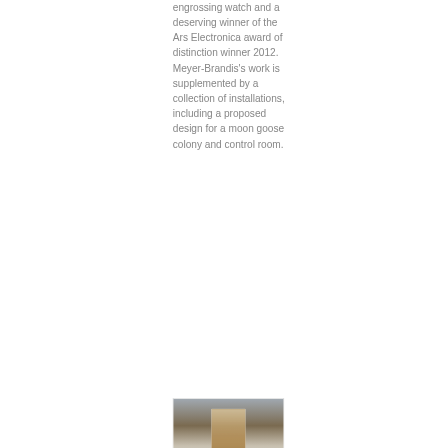engrossing watch and a deserving winner of the Ars Electronica award of distinction winner 2012. Meyer-Brandis's work is supplemented by a collection of installations, including a proposed design for a moon goose colony and control room.
[Figure (photo): A photograph showing what appears to be a glass bottle or container with some objects inside, partially visible at the bottom of the page.]